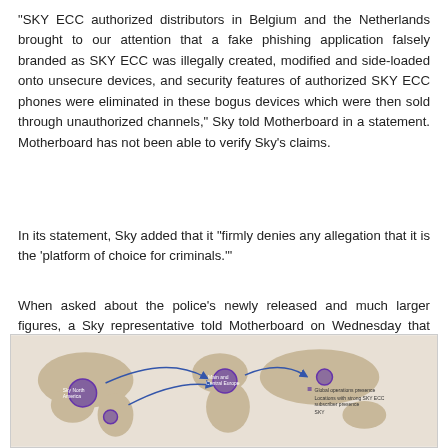"SKY ECC authorized distributors in Belgium and the Netherlands brought to our attention that a fake phishing application falsely branded as SKY ECC was illegally created, modified and side-loaded onto unsecure devices, and security features of authorized SKY ECC phones were eliminated in these bogus devices which were then sold through unauthorized channels," Sky told Motherboard in a statement. Motherboard has not been able to verify Sky's claims.
In its statement, Sky added that it "firmly denies any allegation that it is the 'platform of choice for criminals.'"
When asked about the police's newly released and much larger figures, a Sky representative told Motherboard on Wednesday that "Those stated figures were already in consideration when we released our press release."
[Figure (map): World map showing connections between locations with purple circles and arrows, related to SKY ECC operations and distribution networks.]